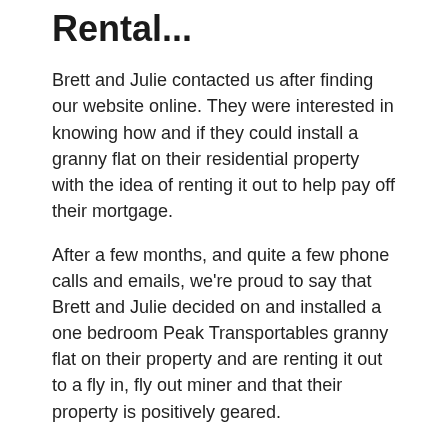Rental...
Brett and Julie contacted us after finding our website online. They were interested in knowing how and if they could install a granny flat on their residential property with the idea of renting it out to help pay off their mortgage.
After a few months, and quite a few phone calls and emails, we're proud to say that Brett and Julie decided on and installed a one bedroom Peak Transportables granny flat on their property and are renting it out to a fly in, fly out miner and that their property is positively geared.
Brett & Julie found the hardest step to take was the first one, which is why they got our free Peak Transportables information pack to compare granny flats and find out the facts, styles and figures for themselves.
Portables For Developments and